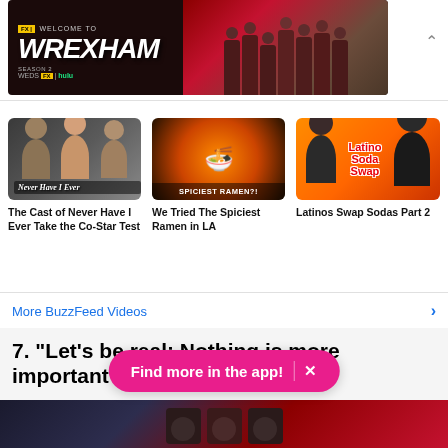[Figure (photo): Banner advertisement for Welcome to Wrexham on FX/Hulu, showing the show title and team photo]
[Figure (photo): Thumbnail for video: The Cast of Never Have I Ever Take the Co-Star Test, showing cast members]
The Cast of Never Have I Ever Take the Co-Star Test
[Figure (photo): Thumbnail for video: We Tried The Spiciest Ramen in LA, showing ramen bowl with SPICIEST RAMEN?! text]
We Tried The Spiciest Ramen in LA
[Figure (photo): Thumbnail for video: Latinos Swap Sodas Part 2, showing two people with orange background and Latino Soda Swap text]
Latinos Swap Sodas Part 2
More BuzzFeed Videos
7. "Let's be real: Nothing is more important
[Figure (photo): Bottom strip showing a dark scene]
Find more in the app!